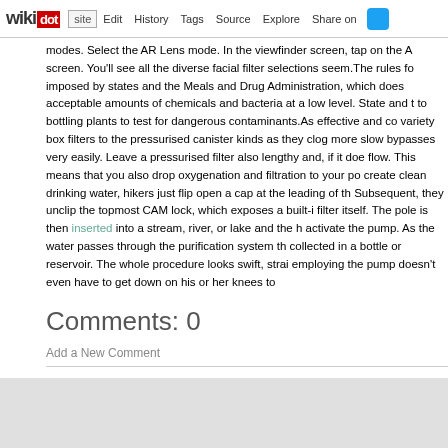wikidot | site | Edit | History | Tags | Source | Explore | Share on
modes. Select the AR Lens mode. In the viewfinder screen, tap on the screen. You'll see all the diverse facial filter selections seem.The rules imposed by states and the Meals and Drug Administration, which does acceptable amounts of chemicals and bacteria at a low level. State and to bottling plants to test for dangerous contaminants.As effective and co variety box filters to the pressurised canister kinds as they clog more slo bypasses very easily. Leave a pressurised filter also lengthy and, if it doe flow. This means that you also drop oxygenation and filtration to your po create clean drinking water, hikers just flip open a cap at the leading of th Subsequent, they unclip the topmost CAM lock, which exposes a built-i filter itself. The pole is then inserted into a stream, river, or lake and the activate the pump. As the water passes through the purification system th collected in a bottle or reservoir. The whole procedure looks swift, strai employing the pump doesn't even have to get down on his or her knees to
Comments: 0
Add a New Comment
page revis
Edit    Tags    History
Powered by Wikidot.com
Unless otherwise stated, the content of this page is lice